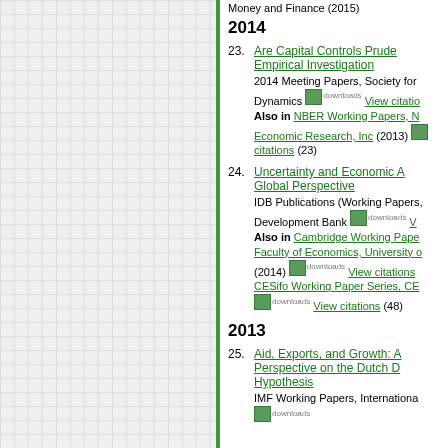Money and Finance (2015)
2014
23. Are Capital Controls Prudent... Empirical Investigation
2014 Meeting Papers, Society for Dynamics downloads View citations
Also in NBER Working Papers, National Bureau of Economic Research, Inc (2013) downloads View citations (23)
24. Uncertainty and Economic Activity: A Global Perspective
IDB Publications (Working Papers), Inter-American Development Bank downloads View citations
Also in Cambridge Working Papers in Economics, Faculty of Economics, University of Cambridge (2014) downloads View citations
CESifo Working Paper Series, CESifo downloads View citations (48)
2013
25. Aid, Exports, and Growth: A Time-Series Perspective on the Dutch Disease Hypothesis
IMF Working Papers, International Monetary Fund downloads